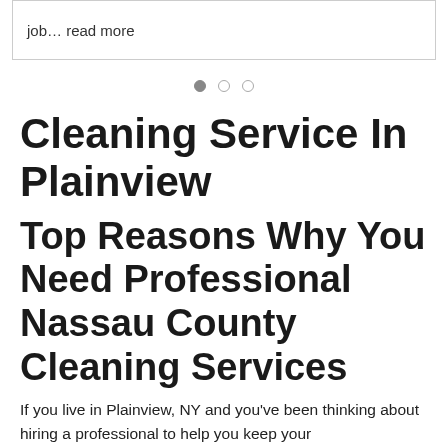job… read more
[Figure (other): Carousel navigation dots — one filled dark, two outlined]
Cleaning Service In Plainview
Top Reasons Why You Need Professional Nassau County Cleaning Services
If you live in Plainview, NY and you've been thinking about hiring a professional to help you keep your